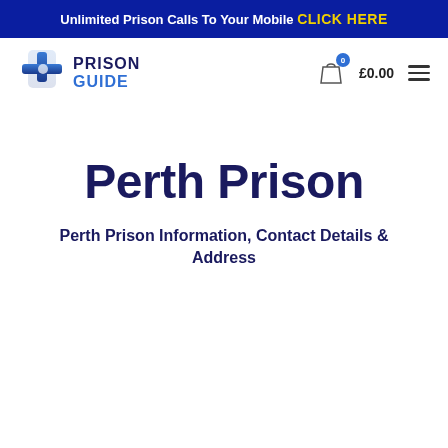Unlimited Prison Calls To Your Mobile CLICK HERE
[Figure (logo): Prison Guide logo with cross icon and text PRISON GUIDE]
Perth Prison
Perth Prison Information, Contact Details & Address